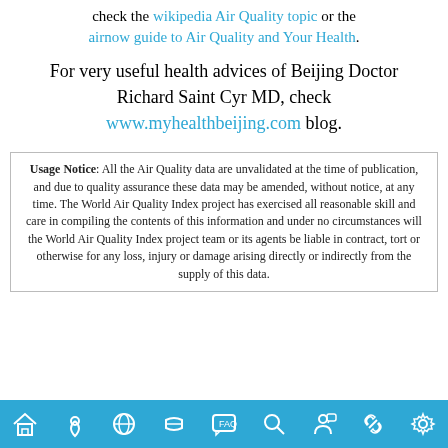check the wikipedia Air Quality topic or the airnow guide to Air Quality and Your Health.
For very useful health advices of Beijing Doctor Richard Saint Cyr MD, check www.myhealthbeijing.com blog.
Usage Notice: All the Air Quality data are unvalidated at the time of publication, and due to quality assurance these data may be amended, without notice, at any time. The World Air Quality Index project has exercised all reasonable skill and care in compiling the contents of this information and under no circumstances will the World Air Quality Index project team or its agents be liable in contract, tort or otherwise for any loss, injury or damage arising directly or indirectly from the supply of this data.
[navigation icon bar]